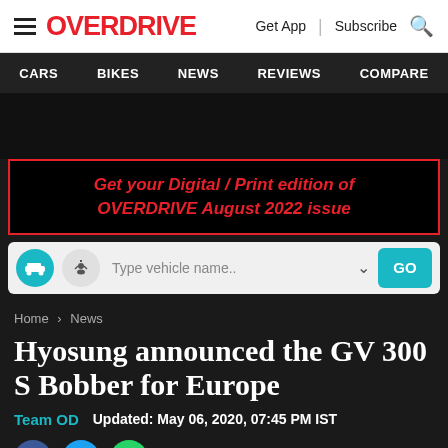OVERDRIVE | Get App | Subscribe
CARS | BIKES | NEWS | REVIEWS | COMPARE
Get your Digital / Print edition of OVERDRIVE August 2022 issue
Type vehicle name..
Home > News
Hyosung announced the GV 300 S Bobber for Europe
Team OD   Updated: May 06, 2020, 07:45 PM IST